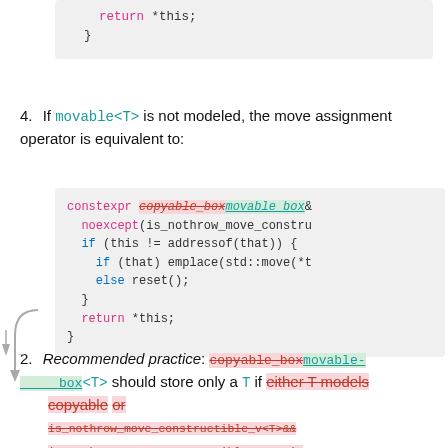[Figure (screenshot): Code block showing: return *this; }]
4. If movable<T> is not modeled, the move assignment operator is equivalent to:
[Figure (screenshot): Code block with diff markup: constexpr [copyable_box struck]movable_box& noexcept(is_nothrow_move_constru if (this != addressof(that)) { if (that) emplace(std::move(*t else reset(); } return *this; }]
2. Recommended practice: copyable_box[struck] movable_box<T> should store only a T if either T models copyable or is_nothrow_move_constructible_v<T>&&is_nothrow_copy_constructible_v<T> is